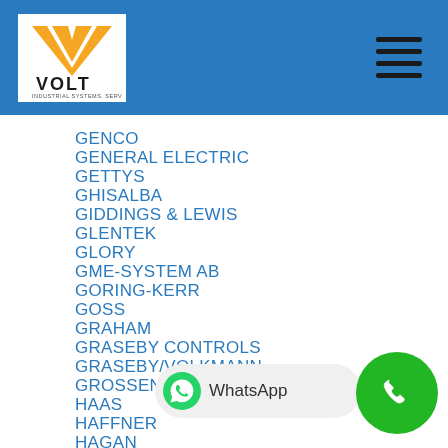[Figure (logo): VOLT industrial systems logo with orange V chevron on white background, blue header bar with hamburger menu icon]
GENCO
GENERAL ELECTRIC
GETTYS
GHISALBA
GIDDINGS & LEWIS
GLENTEK
GLORY
GME-SYSTEM AB
GORING-KERR
GOSS
GRAHAM
GRASEBY CONTROLS
GRASEBY/VOLKMANN
GROSSENBACHER
HAAS
HAFFNER
HAGAN
HAGGLUND
HALMAR
HANSEN
[Figure (other): WhatsApp chat button with green WhatsApp icon and grey pill background]
[Figure (other): Green circular phone call button icon]